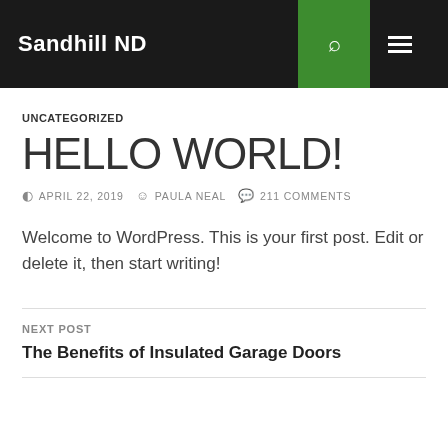Sandhill ND
UNCATEGORIZED
HELLO WORLD!
APRIL 22, 2019  PAULA NEAL  211 COMMENTS
Welcome to WordPress. This is your first post. Edit or delete it, then start writing!
NEXT POST
The Benefits of Insulated Garage Doors